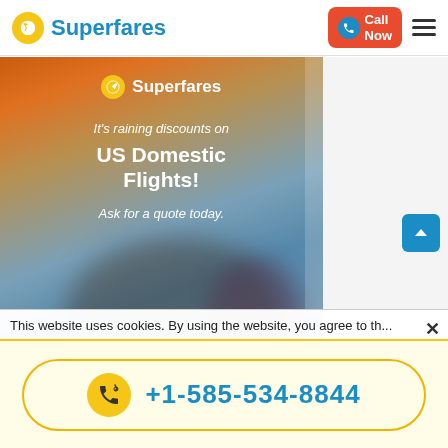Superfares — Call Now — Navigation menu
[Figure (photo): Promotional banner for Superfares showing blurred travelers with text: It's raining discounts on US Domestic Flights! Ask for a quote today.]
This website uses cookies. By using the website, you agree to th...
+1-585-534-8844